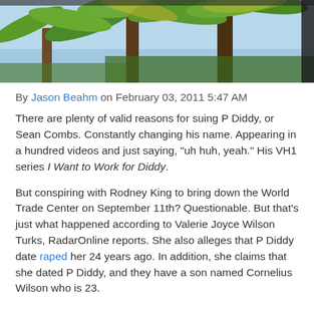[Figure (photo): Palm trees photographed from below against a blue sky, with green and yellow fronds visible.]
By Jason Beahm on February 03, 2011 5:47 AM
There are plenty of valid reasons for suing P Diddy, or Sean Combs. Constantly changing his name. Appearing in a hundred videos and just saying, "uh huh, yeah." His VH1 series I Want to Work for Diddy.
But conspiring with Rodney King to bring down the World Trade Center on September 11th? Questionable. But that's just what happened according to Valerie Joyce Wilson Turks, RadarOnline reports. She also alleges that P Diddy date raped her 24 years ago. In addition, she claims that she dated P Diddy, and they have a son named Cornelius Wilson who is 23.